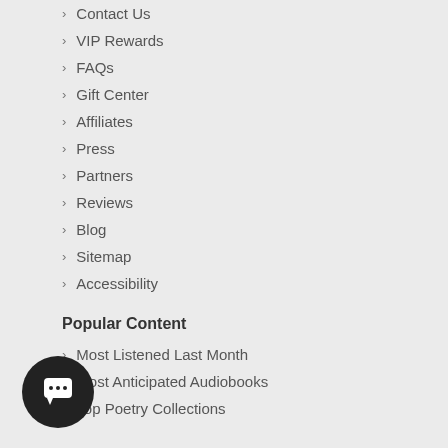Contact Us
VIP Rewards
FAQs
Gift Center
Affiliates
Press
Partners
Reviews
Blog
Sitemap
Accessibility
Popular Content
Most Listened Last Month
Most Anticipated Audiobooks
Top Poetry Collections